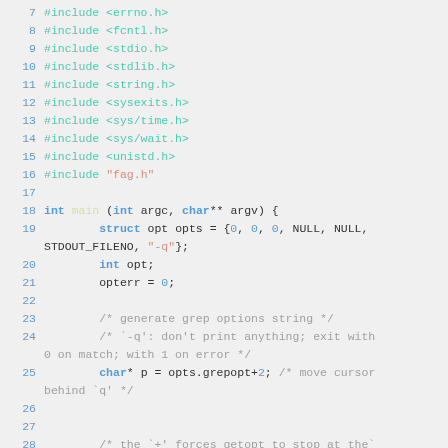Code listing showing C source lines 7-28 with syntax highlighting
7  #include <errno.h>
8  #include <fcntl.h>
9  #include <stdio.h>
10  #include <stdlib.h>
11  #include <string.h>
12  #include <sysexits.h>
13  #include <sys/time.h>
14  #include <sys/wait.h>
15  #include <unistd.h>
16  #include "fag.h"
17
18  int main (int argc, char** argv) {
19          struct opt opts = {0, 0, 0, NULL, NULL, STDOUT_FILENO, "-q"};
20          int opt;
21          opterr = 0;
22
23          /* generate grep options string */
24          /* `-q': don't print anything; exit with 0 on match; with 1 on error */
25          char* p = opts.grepopt+2; /* move cursor behind `q' */
26
27
28          /* the `+' forces getopt to stop at the`